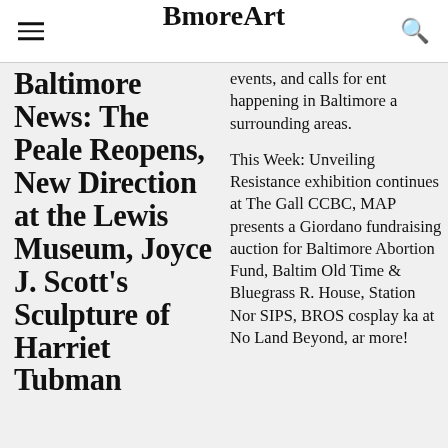BmoreArt
Baltimore News: The Peale Reopens, New Direction at the Lewis Museum, Joyce J. Scott's Sculpture of Harriet Tubman
events, and calls for ent happening in Baltimore a surrounding areas.
This Week: Unveiling Resistance exhibition continues at The Gall CCBC, MAP presents a Giordano fundraising auction for Baltimore Abortion Fund, Baltim Old Time & Bluegrass R. House, Station Nor SIPS, BROS cosplay ka at No Land Beyond, ar more!